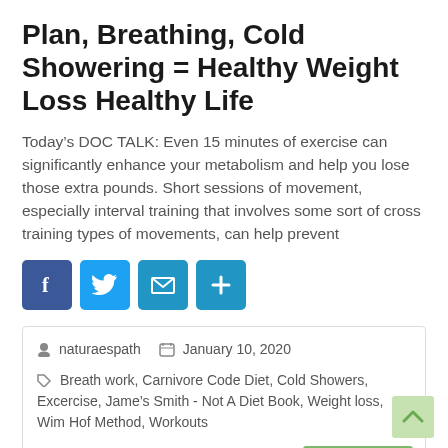Plan, Breathing, Cold Showering = Healthy Weight Loss Healthy Life
Today’s DOC TALK: Even 15 minutes of exercise can significantly enhance your metabolism and help you lose those extra pounds. Short sessions of movement, especially interval training that involves some sort of cross training types of movements, can help prevent
[Figure (infographic): Four social sharing icon buttons: Facebook (blue), Twitter (light blue), Email (blue), Share/plus (blue)]
naturaespath   January 10, 2020
Breath work, Carnivore Code Diet, Cold Showers, Excercise, Jame’s Smith - Not A Diet Book, Weight loss, Wim Hof Method, Workouts
Read more